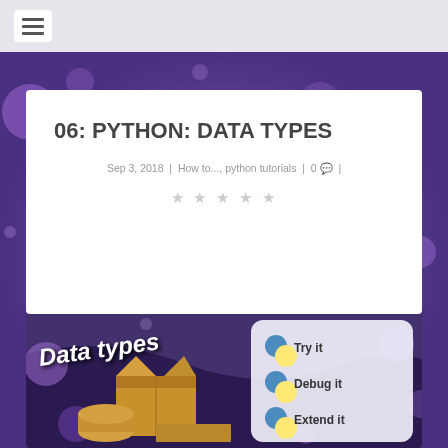06: PYTHON: DATA TYPES
Sep 3, 2018 | How to..., python tutorials | 0 💬 |
★ ★ ★ ★ ★
[Figure (illustration): Image showing 'Data types' text with cardboard boxes on left side and a panel on the right with Python logo icons next to 'Try it', 'Debug it', 'Extend it' on a dark purple bokeh background.]